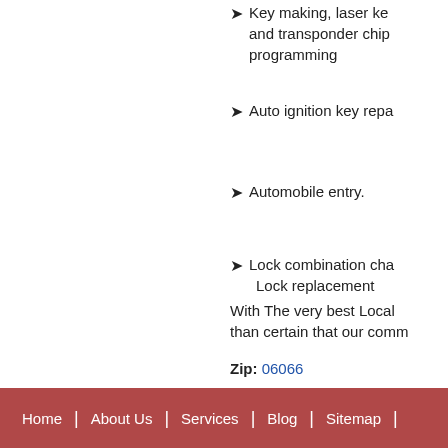Key making, laser ke... and transponder chip... programming
Auto ignition key repa...
Automobile entry.
Lock combination cha... Lock replacement
With The very best Local... than certain that our comm...
Zip: 06066
Locksmiths n...
Home | About Us | Services | Blog | Sitemap |